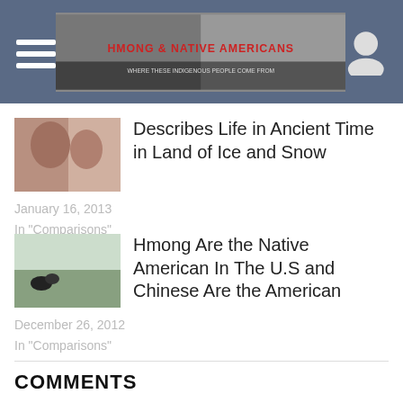Hmong & Native Americans blog header
Describes Life in Ancient Time in Land of Ice and Snow
January 16, 2013
In "Comparisons"
Hmong Are the Native American In The U.S and Chinese Are the American
December 26, 2012
In "Comparisons"
COMMENTS